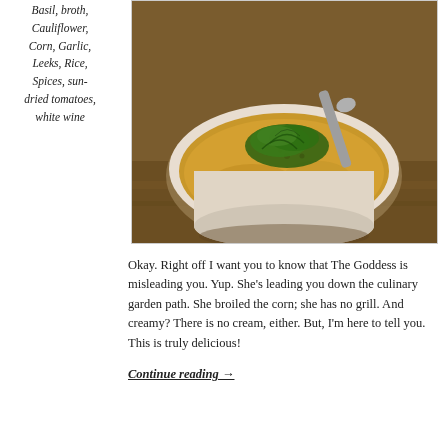Basil, broth, Cauliflower, Corn, Garlic, Leeks, Rice, Spices, sun-dried tomatoes, white wine
[Figure (photo): A white bowl filled with creamy golden corn and cauliflower soup topped with fresh herbs, red pepper flakes, and a spoon resting in it, on a wooden surface.]
Okay.  Right off I want you to know that The Goddess is misleading you.  Yup.  She's leading you down the culinary garden path.  She broiled the corn; she has no grill.  And creamy?  There is no cream, either.  But, I'm here to tell you.  This is truly delicious!
Continue reading →